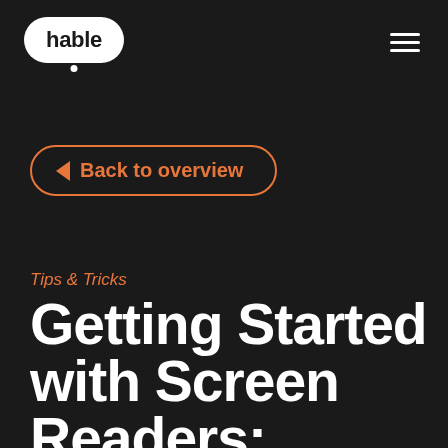[Figure (logo): Hable logo: white rounded rectangle with 'hable' text in bold black, small white circle beneath]
[Figure (other): Hamburger menu icon: three horizontal white lines]
◄ Back to overview
Tips & Tricks
Getting Started with Screen Readers: